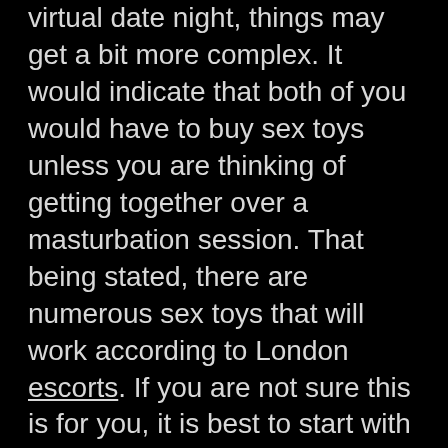virtual date night, things may get a bit more complex. It would indicate that both of you would have to buy sex toys unless you are thinking of getting together over a masturbation session. That being stated, there are numerous sex toys that will work according to London escorts. If you are not sure this is for you, it is best to start with a low cost sex toy. As soon as you make certain that this is what you wish to invest your virtual date night doing, all you have to do is to buy much better quality sex toys. ^

There are numerous other ways in